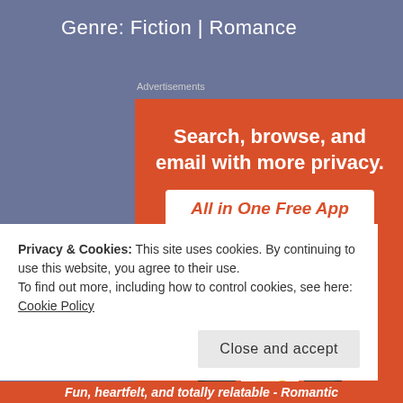Genre: Fiction | Romance
Advertisements
[Figure (screenshot): DuckDuckGo advertisement showing a smartphone with DuckDuckGo app. Orange background with white bold text reading 'Search, browse, and email with more privacy.' and a white button with orange text 'All in One Free App'. Phone shows DuckDuckGo logo and partial text 'DuckDuckGo'.]
Privacy & Cookies: This site uses cookies. By continuing to use this website, you agree to their use.
To find out more, including how to control cookies, see here: Cookie Policy
Close and accept
Fun, heartfelt, and totally relatable - Romantic